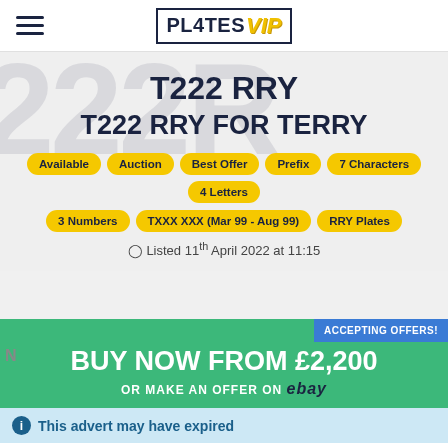PL4TES VIP
T222 RRY
T222 RRY FOR TERRY
Available
Auction
Best Offer
Prefix
7 Characters
4 Letters
3 Numbers
TXXX XXX (Mar 99 - Aug 99)
RRY Plates
Listed 11th April 2022 at 11:15
ACCEPTING OFFERS!
BUY NOW FROM £2,200
OR MAKE AN OFFER ON ebay
This advert may have expired